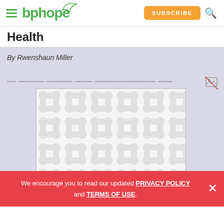[Figure (logo): bphope website header with hamburger menu, green bphope logo with leaf, orange SUBSCRIBE button, and search icon]
Health
By Rwenshaun Miller
[Figure (photo): Image placeholder with decorative molecule/cell pattern in light grey on white background]
We encourage you to read our updated PRIVACY POLICY and TERMS OF USE.